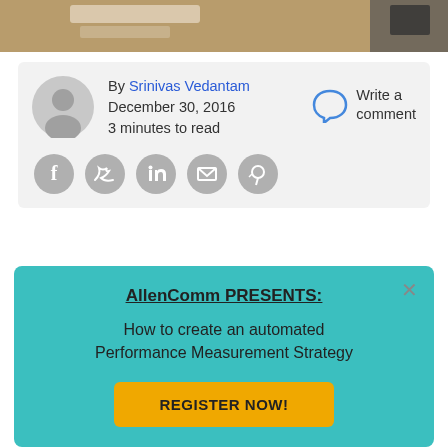[Figure (photo): Top portion of a photo showing a desk/table with papers and objects, cropped at top of page]
By Srinivas Vedantam
December 30, 2016
3 minutes to read
Write a comment
[Figure (illustration): Social media share icons: Facebook, Twitter, LinkedIn, Email, Pinterest — grey circles]
AllenComm PRESENTS:
How to create an automated Performance Measurement Strategy
REGISTER NOW!